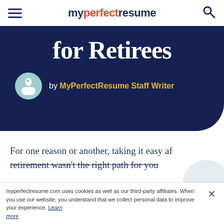myperfectresume
for Retirees
by MyPerfectResume Staff Writer
For one reason or another, taking it easy after retirement wasn't the right path for you
myperfectresume.com uses cookies as well as our third-party affiliates. When you use our website, you understand that we collect personal data to improve your experience. Learn more